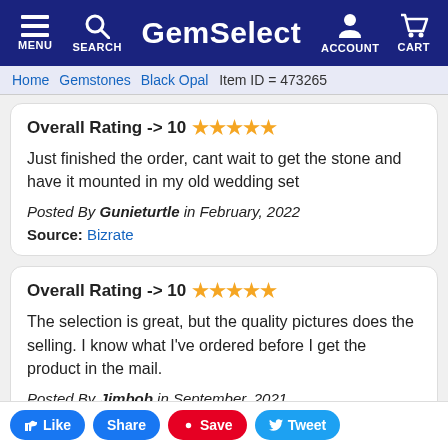GemSelect — MENU SEARCH ACCOUNT CART
Home > Gemstones > Black Opal   Item ID = 473265
Overall Rating -> 10 ★★★★★
Just finished the order, cant wait to get the stone and have it mounted in my old wedding set
Posted By Gunieturtle in February, 2022
Source: Bizrate
Overall Rating -> 10 ★★★★★
The selection is great, but the quality pictures does the selling. I know what I've ordered before I get the product in the mail.
Posted By Jimbob in September, 2021